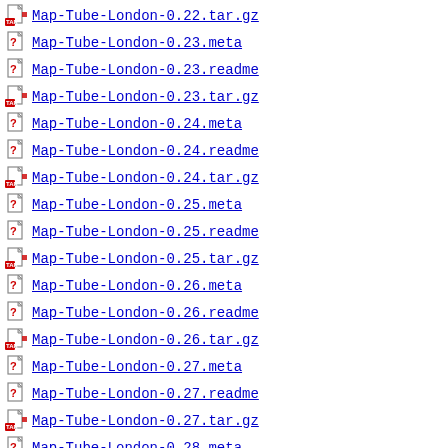Map-Tube-London-0.22.tar.gz
Map-Tube-London-0.23.meta
Map-Tube-London-0.23.readme
Map-Tube-London-0.23.tar.gz
Map-Tube-London-0.24.meta
Map-Tube-London-0.24.readme
Map-Tube-London-0.24.tar.gz
Map-Tube-London-0.25.meta
Map-Tube-London-0.25.readme
Map-Tube-London-0.25.tar.gz
Map-Tube-London-0.26.meta
Map-Tube-London-0.26.readme
Map-Tube-London-0.26.tar.gz
Map-Tube-London-0.27.meta
Map-Tube-London-0.27.readme
Map-Tube-London-0.27.tar.gz
Map-Tube-London-0.28.meta
Map-Tube-London-0.28.readme